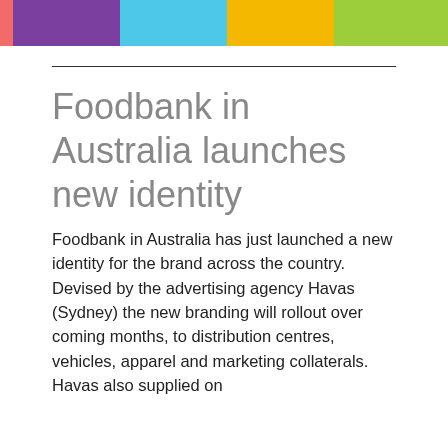[Figure (other): Colorful horizontal bar strip with segments in pink, purple, cyan/blue, yellow/orange, and green]
Foodbank in Australia launches new identity
Foodbank in Australia has just launched a new identity for the brand across the country. Devised by the advertising agency Havas (Sydney) the new branding will rollout over coming months, to distribution centres, vehicles, apparel and marketing collaterals. Havas also supplied on...